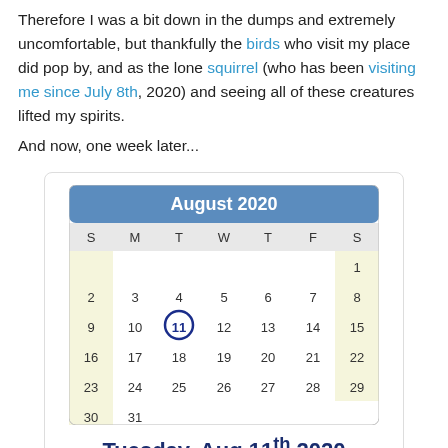Therefore I was a bit down in the dumps and extremely uncomfortable, but thankfully the birds who visit my place did pop by, and as the lone squirrel (who has been visiting me since July 8th, 2020) and seeing all of these creatures lifted my spirits.
And now, one week later...
[Figure (other): A calendar widget showing August 2020, with Tuesday August 11th highlighted with a blue circle. Days of the week shown as S M T W T F S. Below the calendar it reads 'Tuesday, Aug 11th 2020' and 'IMAGE CREDIT'.]